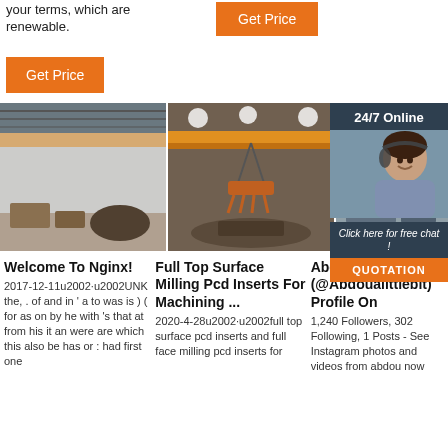your terms, which are renewable.
Get Price
Get Price
[Figure (photo): Industrial warehouse interior with overhead crane]
[Figure (photo): Industrial crane lifting scrap metal]
[Figure (photo): Industrial facility with overhead crane]
[Figure (infographic): 24/7 Online chat widget with agent photo and QUOTATION button]
Welcome To Nginx!
2017-12-11u2002·u2002UNK the, . of and in ' a to was is ) ( for as on by he with 's that at from his it an were are which this also be has or : had first one
Full Top Surface Milling Pcd Inserts For Machining ...
2020-4-28u2002·u2002full top surface pcd inserts and full face milling pcd inserts for
Abdou Now Online's (@Abdoualittlebit) Profile On
1,240 Followers, 302 Following, 1 Posts - See Instagram photos and videos from abdou now